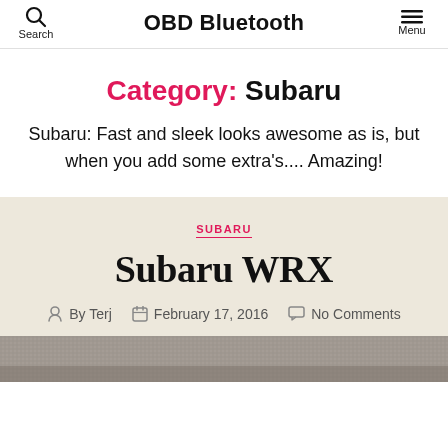Search   OBD Bluetooth   Menu
Category: Subaru
Subaru: Fast and sleek looks awesome as is, but when you add some extra's.... Amazing!
SUBARU
Subaru WRX
By Terj   February 17, 2016   No Comments
[Figure (photo): Bottom strip showing top portion of a Subaru WRX photo (partially visible)]